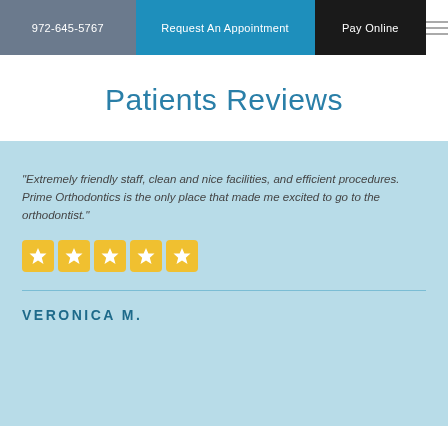972-645-5767 | Request An Appointment | Pay Online
Patients Reviews
"Extremely friendly staff, clean and nice facilities, and efficient procedures. Prime Orthodontics is the only place that made me excited to go to the orthodontist."
★★★★★ (5 stars)
VERONICA M.